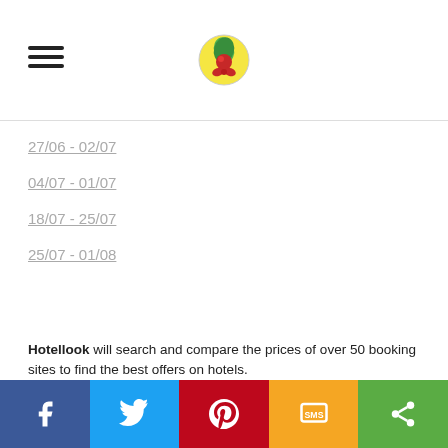[hamburger menu icon] [logo]
27/06 - 02/07
04/07 - 01/07
18/07 - 25/07
25/07 - 01/08
Hotellook will search and compare the prices of over 50 booking sites to find the best offers on hotels.
[Facebook] [Twitter] [Pinterest] [SMS] [Share]